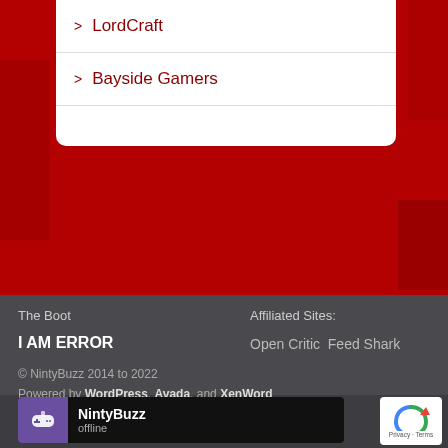> LordCraft
> Bayside Gamers
The Boot
Affiliated Sites:
I AM ERROR
Open Critic Feed Shark
© NintyBuzz 2014 to 2022
Powered by WordPress, Avada, and XenWord
NintyBuzz
offline
Privacy · Terms